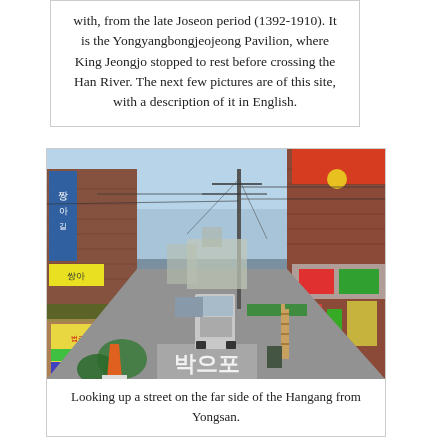with, from the late Joseon period (1392-1910). It is the Yongyangbongjeojeong Pavilion, where King Jeongjo stopped to rest before crossing the Han River. The next few pictures are of this site, with a description of it in English.
[Figure (photo): Street-level photo looking up a narrow urban street in Korea (Yongsan area), flanked by brick commercial buildings with Korean signage, power lines overhead, a van in the middle of the road, and Korean text marking on the pavement.]
Looking up a street on the far side of the Hangang from Yongsan.